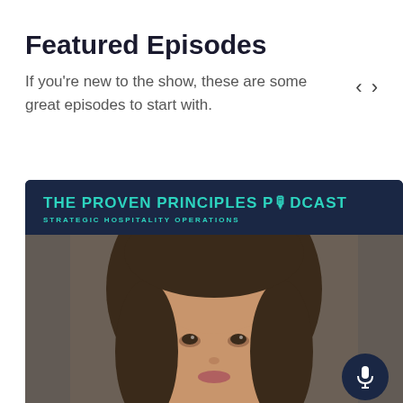Featured Episodes
If you're new to the show, these are some great episodes to start with.
[Figure (screenshot): Podcast episode card for The Proven Principles Podcast – Strategic Hospitality Operations, showing a close-up photo of a woman with long dark hair against a dark grey background, with a dark navy microphone button in the bottom right corner.]